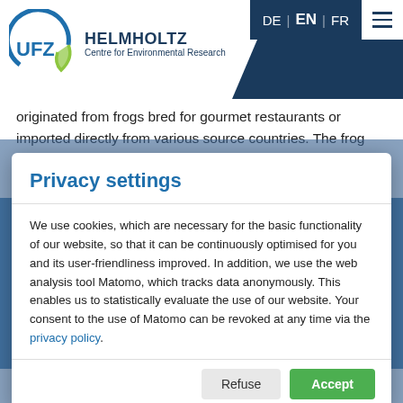[Figure (logo): UFZ Helmholtz Centre for Environmental Research logo with circular arc and leaf motif]
DE | EN | FR
originated from frogs bred for gourmet restaurants or imported directly from various source countries. The frog fauna along larger river flood plains in both countries has now altered
Privacy settings
We use cookies, which are necessary for the basic functionality of our website, so that it can be continuously optimised for you and its user-friendliness improved. In addition, we use the web analysis tool Matomo, which tracks data anonymously. This enables us to statistically evaluate the use of our website. Your consent to the use of Matomo can be revoked at any time via the privacy policy.
crowding out the other fr... s. The number of progeny is